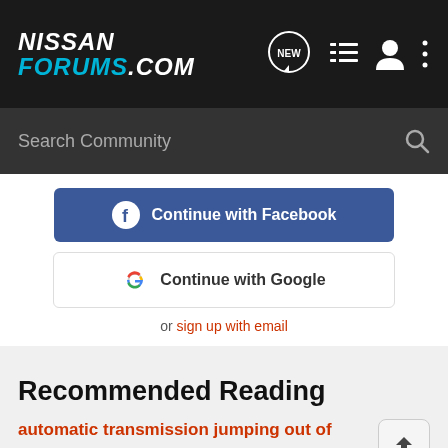NISSAN FORUMS.COM
Search Community
Continue with Facebook
Continue with Google
or sign up with email
Recommended Reading
automatic transmission jumping out of gears
4th Generation Sentra/200SX (1995–1999)
7 comments  5K views
Baes192k · updated Jan 8, 2005